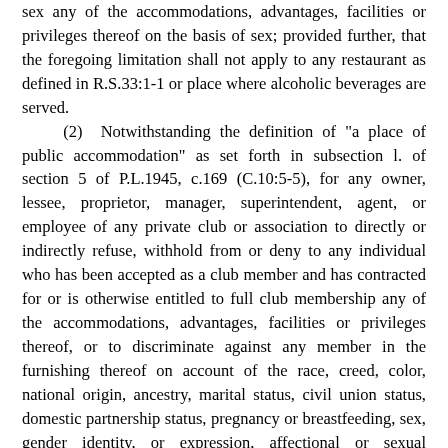sex any of the accommodations, advantages, facilities or privileges thereof on the basis of sex; provided further, that the foregoing limitation shall not apply to any restaurant as defined in R.S.33:1-1 or place where alcoholic beverages are served.
(2) Notwithstanding the definition of "a place of public accommodation" as set forth in subsection l. of section 5 of P.L.1945, c.169 (C.10:5-5), for any owner, lessee, proprietor, manager, superintendent, agent, or employee of any private club or association to directly or indirectly refuse, withhold from or deny to any individual who has been accepted as a club member and has contracted for or is otherwise entitled to full club membership any of the accommodations, advantages, facilities or privileges thereof, or to discriminate against any member in the furnishing thereof on account of the race, creed, color, national origin, ancestry, marital status, civil union status, domestic partnership status, pregnancy or breastfeeding, sex, gender identity, or expression, affectional or sexual orientation, disability, liability for service in the Armed Forces of the United States or nationality of such person.